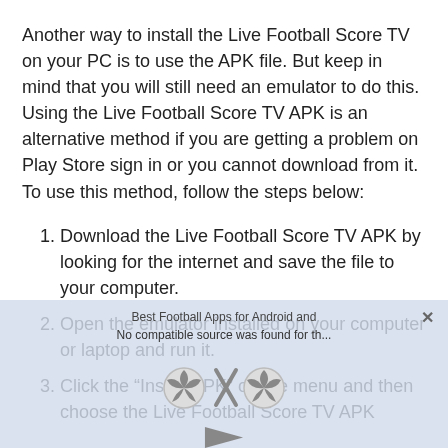Another way to install the Live Football Score TV on your PC is to use the APK file. But keep in mind that you will still need an emulator to do this. Using the Live Football Score TV APK is an alternative method if you are getting a problem on Play Store sign in or you cannot download from it. To use this method, follow the steps below:
Download the Live Football Score TV APK by looking for the internet and save the file to your computer.
Open the emulator installed on your computer or laptop and run it.
Click the “Install APK” on the menu and then choose the Live Football Score TV APK
[Figure (screenshot): Overlay banner at bottom showing 'Best Football Apps for Android and...' with 'No compatible source was found for this' message, football icons, and a close button.]